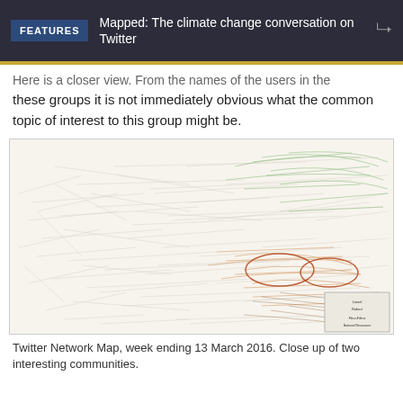FEATURES | Mapped: The climate change conversation on Twitter
Here is a closer view. From the names of the users in the these groups it is not immediately obvious what the common topic of interest to this group might be.
[Figure (network-graph): Twitter network map showing clusters of users connected by lines in various colors (green, orange, brown, grey). Notable labeled nodes include AG Loretta Lynch, The Daily Caller, Hostage Foundation, TheBlazeMedia, and many other user names. Two oval circles highlight dense clusters in the right-center area.]
Twitter Network Map, week ending 13 March 2016. Close up of two interesting communities.